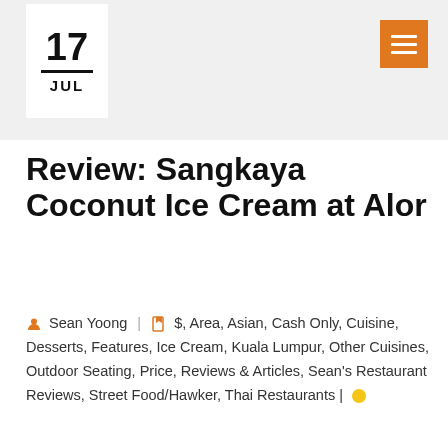17 JUL
Review: Sangkaya Coconut Ice Cream at Alor
Sean Yoong | $, Area, Asian, Cash Only, Cuisine, Desserts, Features, Ice Cream, Kuala Lumpur, Other Cuisines, Outdoor Seating, Price, Reviews & Articles, Sean's Restaurant Reviews, Street Food/Hawker, Thai Restaurants |